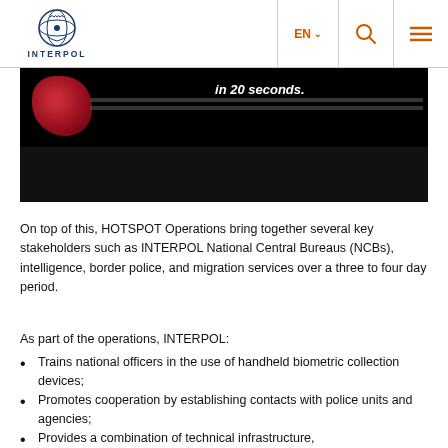INTERPOL | EN | Search | Menu
[Figure (screenshot): Dark video still showing text 'in 20 seconds.' with a red biometric fingerprint graphic on left side against a dark background]
On top of this, HOTSPOT Operations bring together several key stakeholders such as INTERPOL National Central Bureaus (NCBs), intelligence, border police, and migration services over a three to four day period.
As part of the operations, INTERPOL:
Trains national officers in the use of handheld biometric collection devices;
Promotes cooperation by establishing contacts with police units and agencies;
Provides a combination of technical infrastructure,